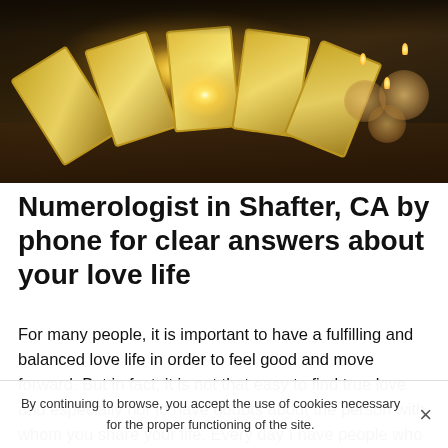[Figure (photo): Tarot cards spread on a dark wooden table with a glowing light in the center, candles in glass holders on the right side, dark moody atmosphere with golden hues]
Numerologist in Shafter, CA by phone for clear answers about your love life
For many people, it is important to have a fulfilling and balanced love life in order to feel good and move forward. But in fact, it is not that easy to find true love and especially not to have doubts about the person with whom you share your life. Every day I have people who contact my numerology office in Shafter by phone to get answers to various questions that are sentimental. I take the time to
By continuing to browse, you accept the use of cookies necessary for the proper functioning of the site.